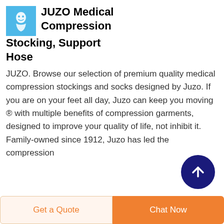JUZO Medical Compression Stocking, Support Hose
JUZO. Browse our selection of premium quality medical compression stockings and socks designed by Juzo. If you are on your feet all day, Juzo can keep you moving ® with multiple benefits of compression garments, designed to improve your quality of life, not inhibit it. Family-owned since 1912, Juzo has led the compression
[Figure (logo): JUZO logo: light blue square background with a stylized white figure/face icon]
[Figure (other): Dark navy blue circular scroll-to-top button with white upward arrow]
Get a Quote
Chat Now